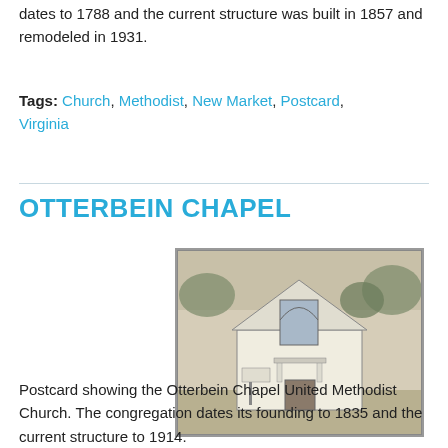dates to 1788 and the current structure was built in 1857 and remodeled in 1931.
Tags: Church, Methodist, New Market, Postcard, Virginia
OTTERBEIN CHAPEL
[Figure (photo): Black and white postcard photograph of Otterbein Chapel United Methodist Church, a small white church building with a Gothic arch window and a front entrance, surrounded by trees.]
Postcard showing the Otterbein Chapel United Methodist Church. The congregation dates its founding to 1835 and the current structure to 1914.
Originally associated with the Brethren denomination, it is now the a reorganized United